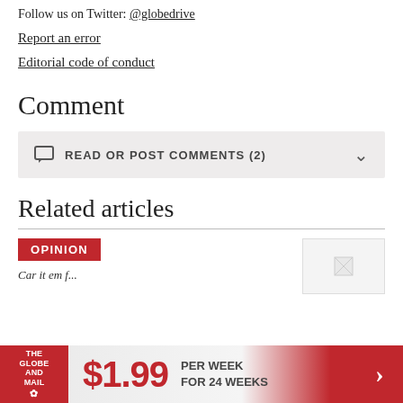Follow us on Twitter: @globedrive
Report an error
Editorial code of conduct
Comment
READ OR POST COMMENTS (2)
Related articles
OPINION
[Figure (photo): Thumbnail image placeholder for related article]
$1.99 PER WEEK FOR 24 WEEKS